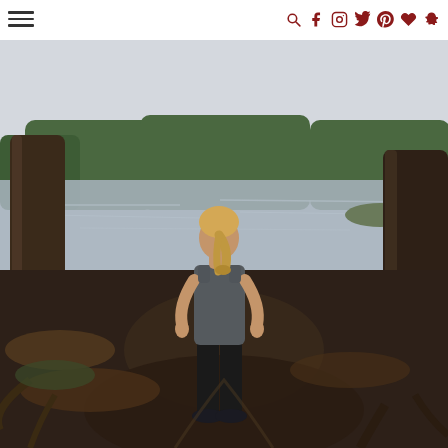Navigation header with hamburger menu and social icons (search, facebook, instagram, twitter, pinterest, heart/favorites, snapchat)
[Figure (photo): A woman with blonde hair in a ponytail, wearing a dark tank top and black leggings, standing with her back to the camera facing a still lake or pond. She is positioned between two large bare trees on a dirt path. The background shows green pine trees and overcast sky reflected in calm water. The foreground shows fallen leaves, roots, and dark earth. Outdoor nature/hiking scene, likely autumn or early spring.]